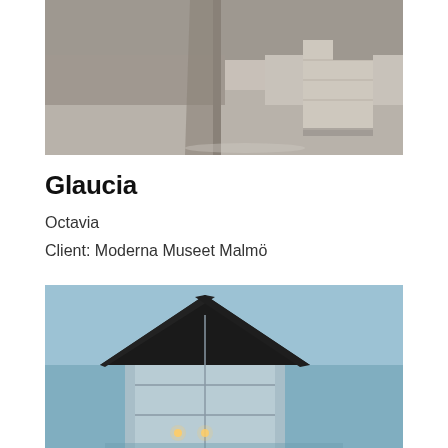[Figure (photo): Architectural interior/exterior detail showing concrete columns and a travertine or stone block structure with dramatic shadows and light.]
Glaucia
Octavia
Client: Moderna Museet Malmö
[Figure (photo): Exterior photograph of a glass-fronted building with a triangular gable roof against a clear blue sky, with two small warm lights visible inside the glazed facade.]